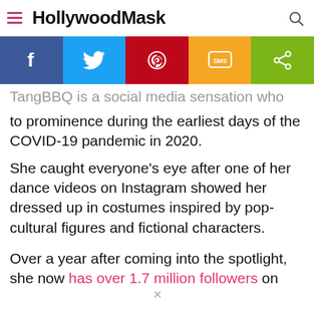HollywoodMask
[Figure (infographic): Social share bar with Facebook, Twitter, Pinterest, SMS, and Share buttons]
TangBBQ is a social media sensation who rose to prominence during the earliest days of the COVID-19 pandemic in 2020.
She caught everyone's eye after one of her dance videos on Instagram showed her dressed up in costumes inspired by pop-cultural figures and fictional characters.
Over a year after coming into the spotlight, she now has over 1.7 million followers on